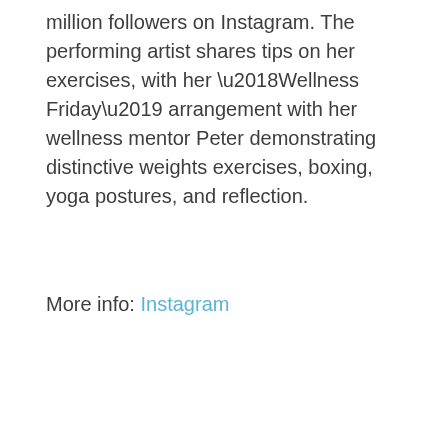million followers on Instagram. The performing artist shares tips on her exercises, with her ‘Wellness Friday’ arrangement with her wellness mentor Peter demonstrating distinctive weights exercises, boxing, yoga postures, and reflection.
More info: Instagram